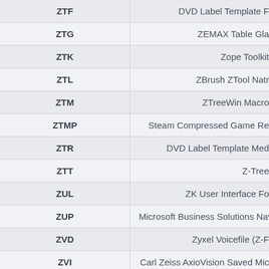| Extension | Description |
| --- | --- |
| ZTF | DVD Label Template F |
| ZTG | ZEMAX Table Gla |
| ZTK | Zope Toolkit |
| ZTL | ZBrush ZTool Natr |
| ZTM | ZTreeWin Macro |
| ZTMP | Steam Compressed Game Re |
| ZTR | DVD Label Template Med |
| ZTT | Z-Tree |
| ZUL | ZK User Interface Fo |
| ZUP | Microsoft Business Solutions Navi |
| ZVD | Zyxel Voicefile (Z-F |
| ZVI | Carl Zeiss AxioVision Saved Mic |
| ZVPL | Visual Paradigm For UML Licer |